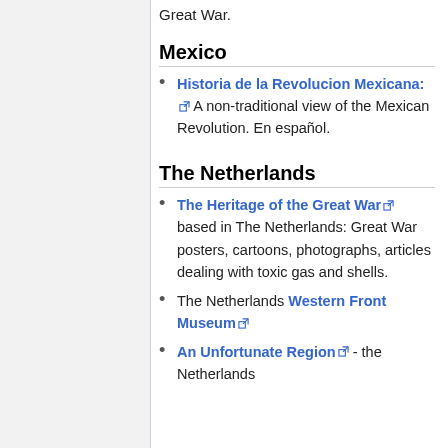Great War.
Mexico
Historia de la Revolucion Mexicana: A non-traditional view of the Mexican Revolution. En español.
The Netherlands
The Heritage of the Great War based in The Netherlands: Great War posters, cartoons, photographs, articles dealing with toxic gas and shells.
The Netherlands Western Front Museum
An Unfortunate Region - the Netherlands